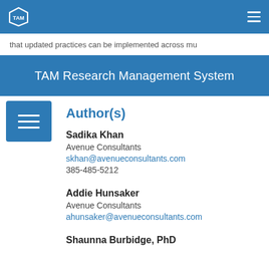TAM Research Management System
that updated practices can be implemented across mu
Author(s)
Sadika Khan
Avenue Consultants
skhan@avenueconsultants.com
385-485-5212
Addie Hunsaker
Avenue Consultants
ahunsaker@avenueconsultants.com
Shaunna Burbidge, PhD